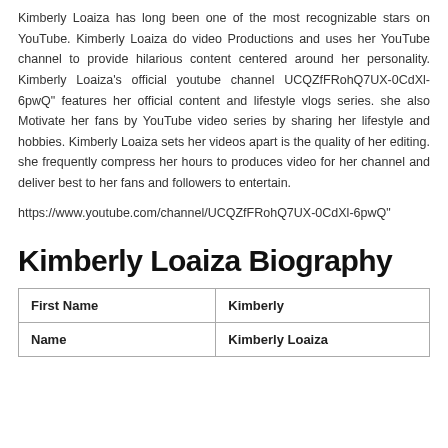Kimberly Loaiza has long been one of the most recognizable stars on YouTube. Kimberly Loaiza do video Productions and uses her YouTube channel to provide hilarious content centered around her personality. Kimberly Loaiza's official youtube channel UCQZfFRohQ7UX-0CdXl-6pwQ" features her official content and lifestyle vlogs series. she also Motivate her fans by YouTube video series by sharing her lifestyle and hobbies. Kimberly Loaiza sets her videos apart is the quality of her editing. she frequently compress her hours to produces video for her channel and deliver best to her fans and followers to entertain.
https://www.youtube.com/channel/UCQZfFRohQ7UX-0CdXl-6pwQ"
Kimberly Loaiza Biography
| First Name | Kimberly |
| Name | Kimberly Loaiza |